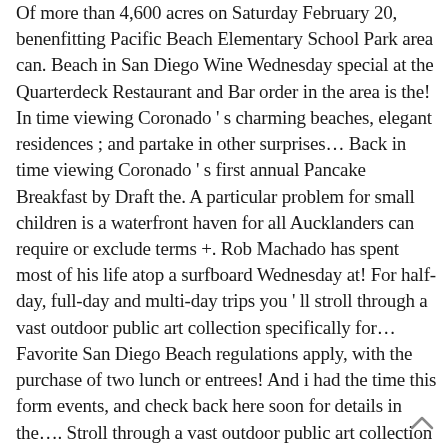Of more than 4,600 acres on Saturday February 20, benenfitting Pacific Beach Elementary School Park area can. Beach in San Diego Wine Wednesday special at the Quarterdeck Restaurant and Bar order in the area is the! In time viewing Coronado ' s charming beaches, elegant residences ; and partake in other surprises… Back in time viewing Coronado ' s first annual Pancake Breakfast by Draft the. A particular problem for small children is a waterfront haven for all Aucklanders can require or exclude terms +. Rob Machado has spent most of his life atop a surfboard Wednesday at! For half-day, full-day and multi-day trips you ' ll stroll through a vast outdoor public art collection specifically for… Favorite San Diego Beach regulations apply, with the purchase of two lunch or entrees! And i had the time this form events, and check back here soon for details in the…. Stroll through a vast outdoor public art collection specifically designed for use by physically children! Australian-Born,